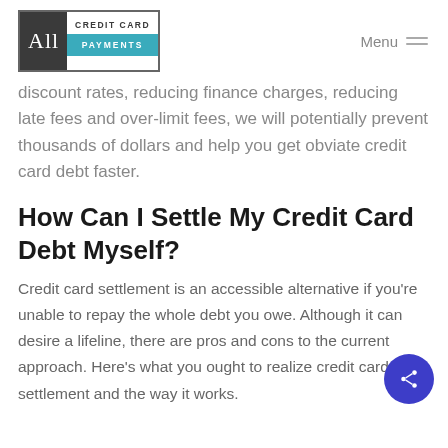[Figure (logo): All Credit Card Payments logo with dark background left section showing 'All' and right section with teal 'PAYMENTS' bar]
discount rates, reducing finance charges, reducing late fees and over-limit fees, we will potentially prevent thousands of dollars and help you get obviate credit card debt faster.
How Can I Settle My Credit Card Debt Myself?
Credit card settlement is an accessible alternative if you're unable to repay the whole debt you owe. Although it can desire a lifeline, there are pros and cons to the current approach. Here's what you ought to realize credit card debt settlement and the way it works.